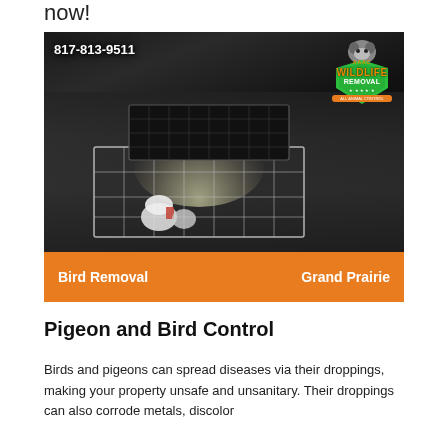now!
[Figure (photo): Bird removal trap cage on a dark surface with a bright light illuminating it. A wire cage with a black mesh top is shown. Phone number 817-813-9511 and AAAC Wildlife Removal logo visible. Orange bar at bottom reads 'Bird Removal' and 'Grand Prairie'.]
Pigeon and Bird Control
Birds and pigeons can spread diseases via their droppings, making your property unsafe and unsanitary. Their droppings can also corrode metals, discolor